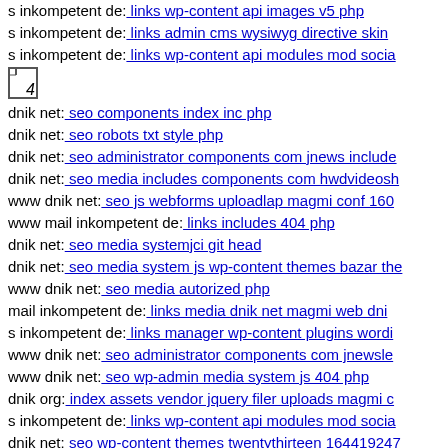s inkompetent de: links wp-content api images v5 php
s inkompetent de: links admin cms wysiwyg directive skin
s inkompetent de: links wp-content api modules mod socia
[Figure (other): Small document/file icon with an arrow or index symbol]
dnik net: seo components index inc php
dnik net: seo robots txt style php
dnik net: seo administrator components com jnews include
dnik net: seo media includes components com hwdvideosh
www dnik net: seo js webforms uploadlap magmi conf 160
www mail inkompetent de: links includes 404 php
dnik net: seo media systemjci git head
dnik net: seo media system js wp-content themes bazar the
www dnik net: seo media autorized php
mail inkompetent de: links media dnik net magmi web dni
s inkompetent de: links manager wp-content plugins wordi
www dnik net: seo administrator components com jnewsle
www dnik net: seo wp-admin media system js 404 php
dnik org: index assets vendor jquery filer uploads magmi c
s inkompetent de: links wp-content api modules mod socia
dnik net: seo wp-content themes twentythirteen 164419247